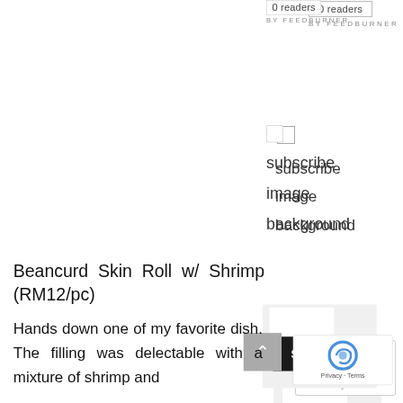[Figure (screenshot): FeedBurner widget showing '0 readers' and 'BY FEEDBURNER' text]
[Figure (screenshot): Subscribe widget area with checkbox, 'subscribe', 'image', 'background' text]
Beancurd Skin Roll w/ Shrimp (RM12/pc)
Hands down one of my favorite dish. The filling was delectable with a mixture of shrimp and